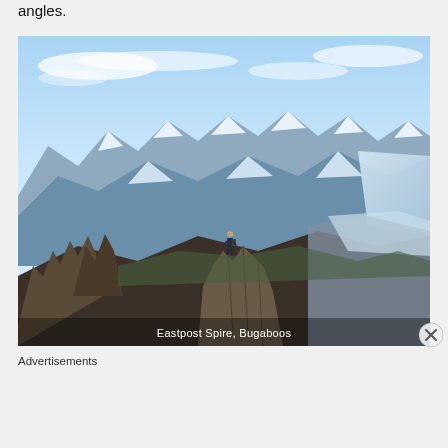The long hike allows you to see the park from different angles.
[Figure (photo): A climber standing on a jagged rock spire (Eastpost Spire) in the Bugaboos, with snow-capped mountain ranges visible in the background and blue sky above. Caption reads: Eastpost Spire, Bugaboos]
Eastpost Spire, Bugaboos
Advertisements
[Figure (other): DuckDuckGo advertisement banner: 'Search, browse, and email with more privacy. All in One Free App' with DuckDuckGo logo on dark background]